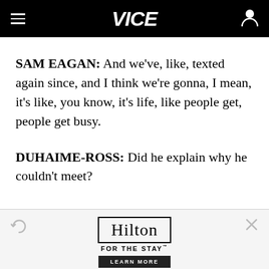VICE
SAM EAGAN: And we've, like, texted again since, and I think we're gonna, I mean, it's like, you know, it's life, like people get, people get busy.
DUHAIME-ROSS: Did he explain why he couldn't meet?
[Figure (other): Hilton 'FOR THE STAY' advertisement with a refresh icon, close icon, and a LEARN MORE button.]